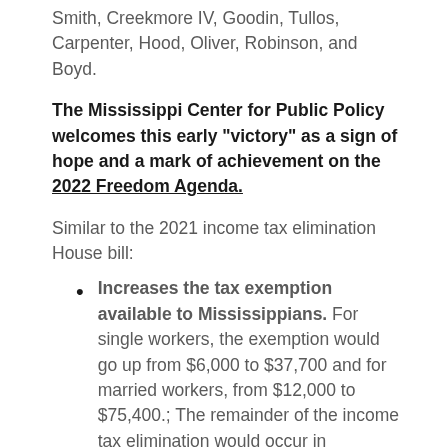Smith, Creekmore IV, Goodin, Tullos, Carpenter, Hood, Oliver, Robinson, and Boyd.
The Mississippi Center for Public Policy welcomes this early "victory" as a sign of hope and a mark of achievement on the 2022 Freedom Agenda.
Similar to the 2021 income tax elimination House bill:
Increases the tax exemption available to Mississippians. For single workers, the exemption would go up from $6,000 to $37,700 and for married workers, from $12,000 to $75,400.; The remainder of the income tax elimination would occur in